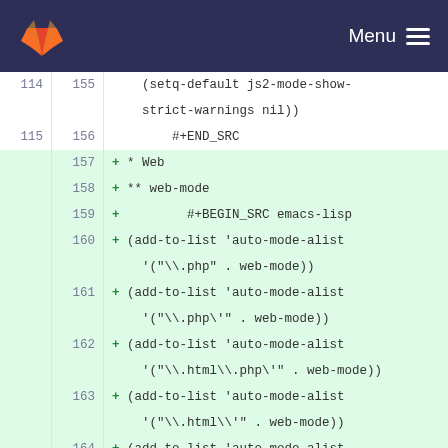[Figure (screenshot): GitLab top navigation bar with fox/flame logo and Menu button]
114  155      (setq-default js2-mode-show-strict-warnings nil))
115  156      #+END_SRC
     157  + * Web
     158  + ** web-mode
     159  +         #+BEGIN_SRC emacs-lisp
     160  + (add-to-list 'auto-mode-alist '("\\.php" . web-mode))
     161  + (add-to-list 'auto-mode-alist '("\\.php\'" . web-mode))
     162  + (add-to-list 'auto-mode-alist '("\\.html\\.php\'" . web-mode))
     163  + (add-to-list 'auto-mode-alist '("\\.html\\'" . web-mode))
     164  + (add-to-list 'auto-mode-alist '("\\.phtml\\'" . web-mode))
     165  + (add-to-list 'auto-mode-alist '("\\.tpl\\.php\\'" . web-mode))
     166  + (add-to-list 'auto-mode-alist '("\\.